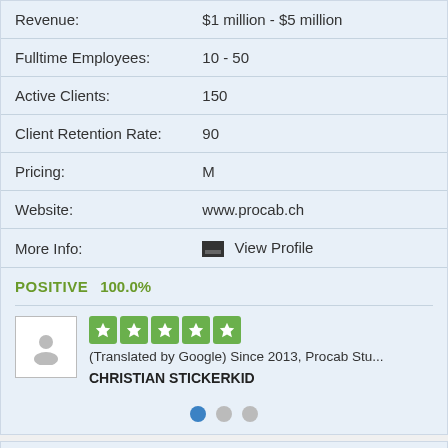| Field | Value |
| --- | --- |
| Revenue: | $1 million - $5 million |
| Fulltime Employees: | 10 - 50 |
| Active Clients: | 150 |
| Client Retention Rate: | 90 |
| Pricing: | M |
| Website: | www.procab.ch |
| More Info: | View Profile |
POSITIVE 100.0%
(Translated by Google) Since 2013, Procab Stu...
CHRISTIAN STICKERKID
5. ComNet Costa Rica